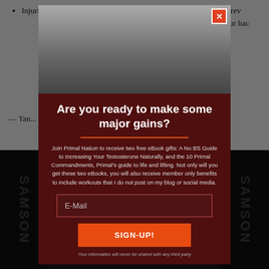Injuries, blown joints, knee pain, and other circumstances may prevent certain exercises. This is in mind with natural spine, squats, and at your back
— Tan...
[Figure (photo): Modal popup overlay on a webpage. Shows a muscular man from behind standing near a road with a car. Below is a dark maroon modal with headline 'Are you ready to make some major gains?', email signup form, and SIGN-UP! button. Background shows a gym with Samson equipment.]